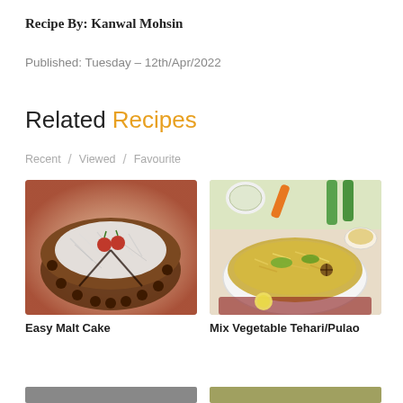Recipe By: Kanwal Mohsin
Published: Tuesday – 12th/Apr/2022
Related Recipes
Recent  /  Viewed  /  Favourite
[Figure (photo): Overhead photo of Easy Malt Cake with chocolate coating, coconut shreds, and cherries on red cloth]
Easy Malt Cake
[Figure (photo): Overhead photo of Mix Vegetable Tehari/Pulao in a white bowl with vegetables in background]
Mix Vegetable Tehari/Pulao